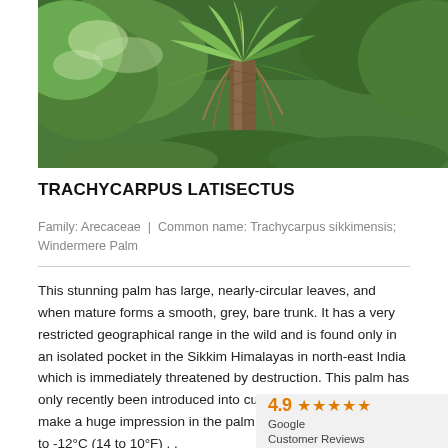[Figure (photo): Photograph of Trachycarpus latisectus palm tree with fan-shaped leaves growing in a dense green garden setting with other broad-leaved trees in the background.]
TRACHYCARPUS LATISECTUS
Family: Arecaceae  |  Common name: Trachycarpus sikkimensis; Windermere Palm
This stunning palm has large, nearly-circular leaves, and when mature forms a smooth, grey, bare trunk. It has a very restricted geographical range in the wild and is found only in an isolated pocket in the Sikkim Himalayas in north-east India which is immediately threatened by destruction. This palm has only recently been introduced into cultivation, but is about to make a huge impression in the palm resistant and hardy: -10 to -12°C (14 to 10°F) . .
4.9 ★★★★★ Google Customer Reviews